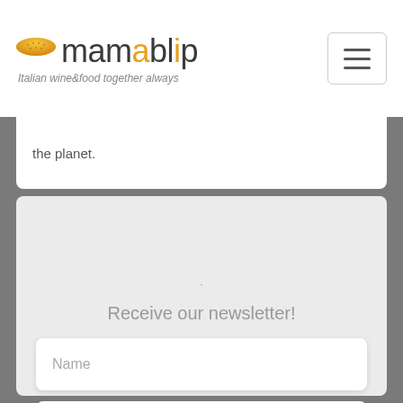mamablip — Italian wine&food together always
the planet.
Receive our newsletter!
Name
Surname
Email address